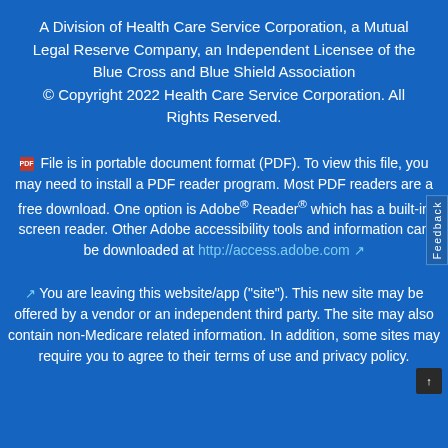A Division of Health Care Service Corporation, a Mutual Legal Reserve Company, an Independent Licensee of the Blue Cross and Blue Shield Association © Copyright 2022 Health Care Service Corporation. All Rights Reserved.
File is in portable document format (PDF). To view this file, you may need to install a PDF reader program. Most PDF readers are a free download. One option is Adobe® Reader® which has a built-in screen reader. Other Adobe accessibility tools and information can be downloaded at http://access.adobe.com
You are leaving this website/app ("site"). This new site may be offered by a vendor or an independent third party. The site may also contain non-Medicare related information. In addition, some sites may require you to agree to their terms of use and privacy policy.